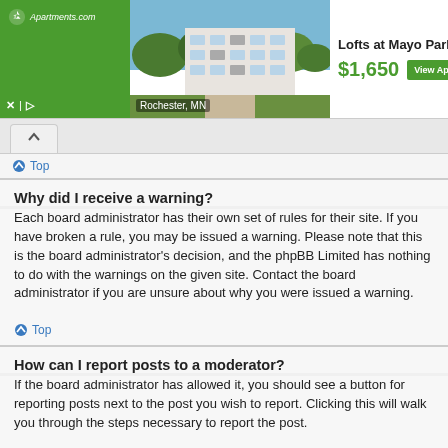[Figure (screenshot): Apartments.com advertisement banner showing Lofts at Mayo Park in Rochester, MN, priced at $1,650 with a View Apartments button]
Why did I receive a warning?
Each board administrator has their own set of rules for their site. If you have broken a rule, you may be issued a warning. Please note that this is the board administrator's decision, and the phpBB Limited has nothing to do with the warnings on the given site. Contact the board administrator if you are unsure about why you were issued a warning.
How can I report posts to a moderator?
If the board administrator has allowed it, you should see a button for reporting posts next to the post you wish to report. Clicking this will walk you through the steps necessary to report the post.